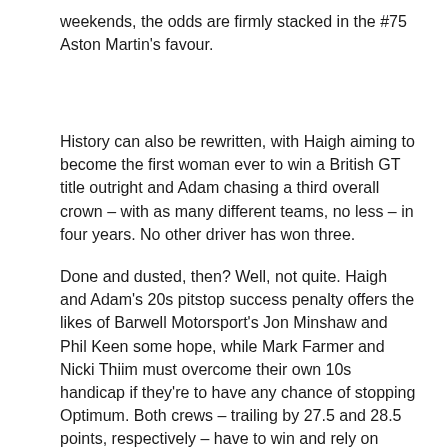weekends, the odds are firmly stacked in the #75 Aston Martin's favour.
History can also be rewritten, with Haigh aiming to become the first woman ever to win a British GT title outright and Adam chasing a third overall crown – with as many different teams, no less – in four years. No other driver has won three.
Done and dusted, then? Well, not quite. Haigh and Adam's 20s pitstop success penalty offers the likes of Barwell Motorsport's Jon Minshaw and Phil Keen some hope, while Mark Farmer and Nicki Thiim must overcome their own 10s handicap if they're to have any chance of stopping Optimum. Both crews – trailing by 27.5 and 28.5 points, respectively – have to win and rely on Haigh/Adam finishing seventh or lower to retain any chance of